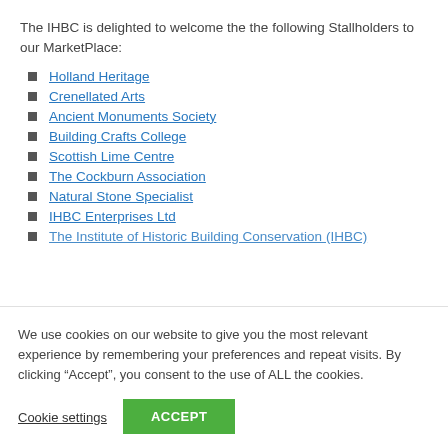The IHBC is delighted to welcome the the following Stallholders to our MarketPlace:
Holland Heritage
Crenellated Arts
Ancient Monuments Society
Building Crafts College
Scottish Lime Centre
The Cockburn Association
Natural Stone Specialist
IHBC Enterprises Ltd
The Institute of Historic Building Conservation (IHBC)
We use cookies on our website to give you the most relevant experience by remembering your preferences and repeat visits. By clicking “Accept”, you consent to the use of ALL the cookies.
Cookie settings | ACCEPT